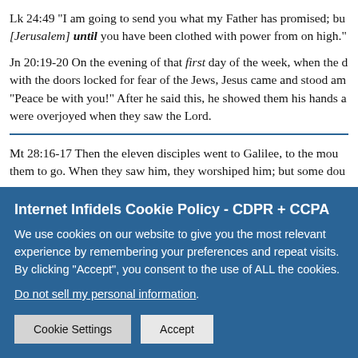Lk 24:49 “I am going to send you what my Father has promised; bu [Jerusalem] until you have been clothed with power from on high.”
Jn 20:19-20 On the evening of that first day of the week, when the d with the doors locked for fear of the Jews, Jesus came and stood am “Peace be with you!” After he said this, he showed them his hands a were overjoyed when they saw the Lord.
Mt 28:16-17 Then the eleven disciples went to Galilee, to the mou them to go. When they saw him, they worshiped him; but some dou
Acts 1:3-4 After his suffering, he showed himself to these men and proofs that he was alive. He appeared to them over a period of fort
Internet Infidels Cookie Policy - CDPR + CCPA
We use cookies on our website to give you the most relevant experience by remembering your preferences and repeat visits. By clicking “Accept”, you consent to the use of ALL the cookies.
Do not sell my personal information.